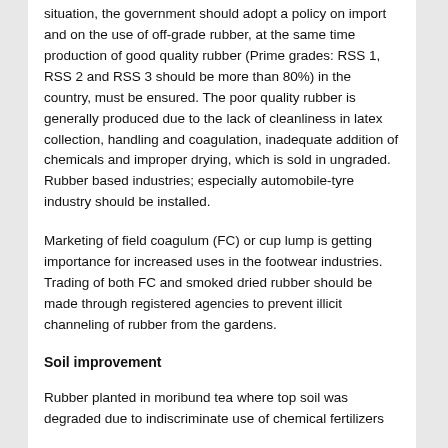situation, the government should adopt a policy on import and on the use of off-grade rubber, at the same time production of good quality rubber (Prime grades: RSS 1, RSS 2 and RSS 3 should be more than 80%) in the country, must be ensured. The poor quality rubber is generally produced due to the lack of cleanliness in latex collection, handling and coagulation, inadequate addition of chemicals and improper drying, which is sold in ungraded. Rubber based industries; especially automobile-tyre industry should be installed.
Marketing of field coagulum (FC) or cup lump is getting importance for increased uses in the footwear industries. Trading of both FC and smoked dried rubber should be made through registered agencies to prevent illicit channeling of rubber from the gardens.
Soil improvement
Rubber planted in moribund tea where top soil was degraded due to indiscriminate use of chemical fertilizers